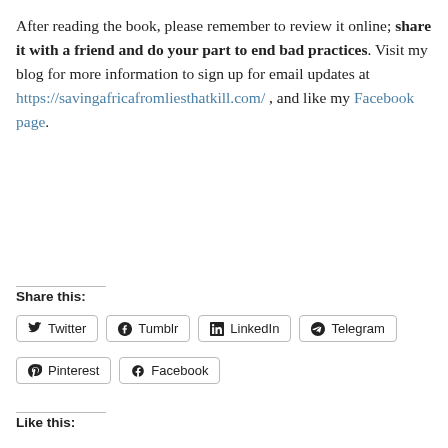After reading the book, please remember to review it online; share it with a friend and do your part to end bad practices. Visit my blog for more information to sign up for email updates at https://savingafricafromliesthatkill.com/ , and like my Facebook page.
Share this:
Twitter  Tumblr  LinkedIn  Telegram  Pinterest  Facebook
Like this: